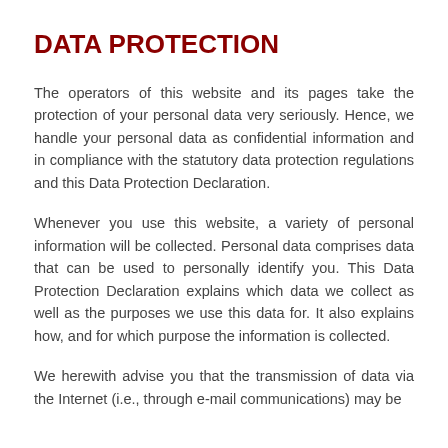DATA PROTECTION
The operators of this website and its pages take the protection of your personal data very seriously. Hence, we handle your personal data as confidential information and in compliance with the statutory data protection regulations and this Data Protection Declaration.
Whenever you use this website, a variety of personal information will be collected. Personal data comprises data that can be used to personally identify you. This Data Protection Declaration explains which data we collect as well as the purposes we use this data for. It also explains how, and for which purpose the information is collected.
We herewith advise you that the transmission of data via the Internet (i.e., through e-mail communications) may be